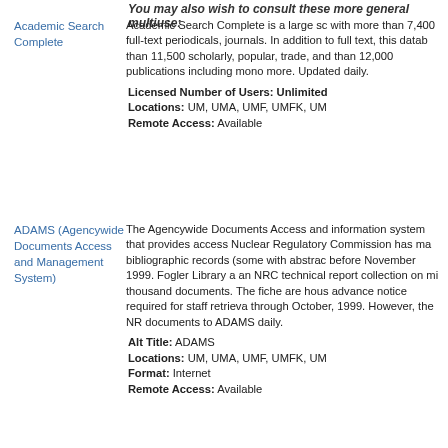You may also wish to consult these more general multiuse:
Academic Search Complete — Academic Search Complete is a large scholarly, multi-disciplinary full-text database, with more than 7,400 full-text periodicals, including more than 7,300 peer-reviewed journals. In addition to full text, this database offers indexing and abstracts for more than 11,500 scholarly, popular, trade, and general interest journals, and includes more than 12,000 publications including monographs, reports, conference proceedings, and more. Updated daily.
Licensed Number of Users: Unlimited
Locations: UM, UMA, UMF, UMFK, UM...
Remote Access: Available
ADAMS (Agencywide Documents Access and Management System) — The Agencywide Documents Access and Management System (ADAMS) is an information system that provides access to documents obtained by or from the Nuclear Regulatory Commission has made available over 3 million full-text and bibliographic records (some with abstracts) for documents received or published before November 1999. Fogler Library at the University of Maine has a copy of an NRC technical report collection on microfiche totaling approximately several thousand documents. The fiche are housed in the Fogler Library stacks with advance notice required for staff retrieval. The fiche collection runs from 1966 through October, 1999. However, the NRC continues to add newly released documents to ADAMS daily.
Alt Title: ADAMS
Locations: UM, UMA, UMF, UMFK, UM...
Format: Internet
Remote Access: Available